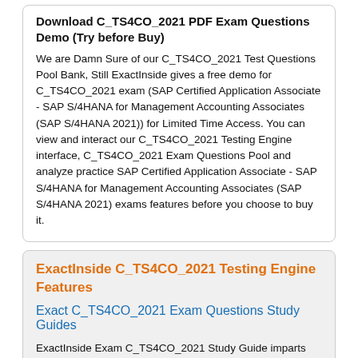Download C_TS4CO_2021 PDF Exam Questions Demo (Try before Buy)
We are Damn Sure of our C_TS4CO_2021 Test Questions Pool Bank, Still ExactInside gives a free demo for C_TS4CO_2021 exam (SAP Certified Application Associate - SAP S/4HANA for Management Accounting Associates (SAP S/4HANA 2021)) for Limited Time Access. You can view and interact our C_TS4CO_2021 Testing Engine interface, C_TS4CO_2021 Exam Questions Pool and analyze practice SAP Certified Application Associate - SAP S/4HANA for Management Accounting Associates (SAP S/4HANA 2021) exams features before you choose to buy it.
ExactInside C_TS4CO_2021 Testing Engine Features
Exact C_TS4CO_2021 Exam Questions Study Guides
ExactInside Exam C_TS4CO_2021 Study Guide imparts you the best knowledge on each and every aspect of the SAP certification exam. Our experts have crafted SAP questions and answers packed with the most reliable and authentic information that you will not even find in Exam C_TS4CO_2021 VCE files and in online